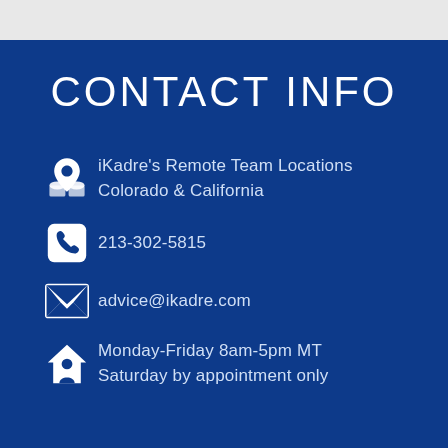CONTACT INFO
iKadre's Remote Team Locations
Colorado & California
213-302-5815
advice@ikadre.com
Monday-Friday 8am-5pm MT
Saturday by appointment only